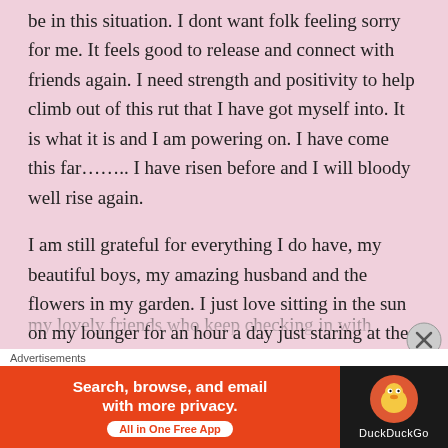be in this situation. I dont want folk feeling sorry for me. It feels good to release and connect with friends again. I need strength and positivity to help climb out of this rut that I have got myself into. It is what it is and I am powering on. I have come this far…….. I have risen before and I will bloody well rise again.
I am still grateful for everything I do have, my beautiful boys, my amazing husband and the flowers in my garden. I just love sitting in the sun on my lounger for an hour a day just staring at the sky and resting. My sisters who I emergency called over during lockdown, my lovely friends who keep checking in with me. Of
[Figure (other): DuckDuckGo advertisement banner: orange background on left with text 'Search, browse, and email with more privacy. All in One Free App', black background on right with DuckDuckGo duck logo and 'DuckDuckGo' text]